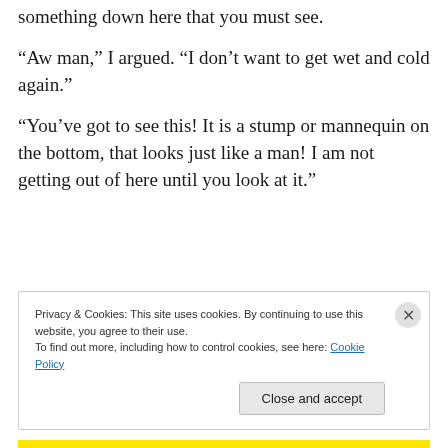something down here that you must see.
“Aw man,” I argued. “I don’t want to get wet and cold again.”
“You’ve got to see this! It is a stump or mannequin on the bottom, that looks just like a man! I am not getting out of here until you look at it.”
Privacy & Cookies: This site uses cookies. By continuing to use this website, you agree to their use.
To find out more, including how to control cookies, see here: Cookie Policy